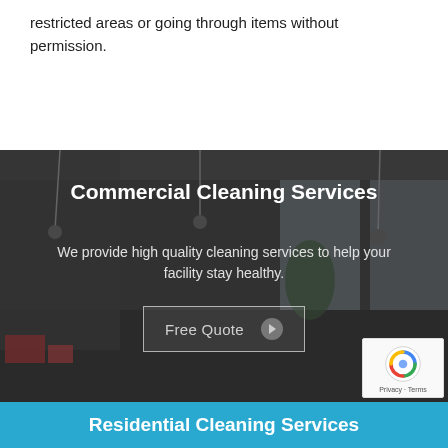restricted areas or going through items without permission.
[Figure (photo): Background photo of a modern commercial office space with large windows, hanging lamps, plants, and dark flooring]
Commercial Cleaning Services
We provide high quality cleaning services to help your facility stay healthy.
Free Quote
Residential Cleaning Services
[Figure (logo): reCAPTCHA badge with Privacy - Terms text]